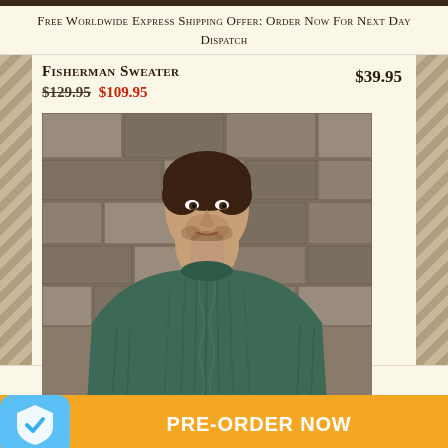Free Worldwide Express Shipping Offer: Order Now For Next Day Dispatch
Fisherman Sweater
$129.95  $109.95
$39.95
[Figure (photo): Man wearing a dark green cable-knit fisherman sweater, standing in front of a stone wall]
Choose options ∨
PRE-ORDER NOW